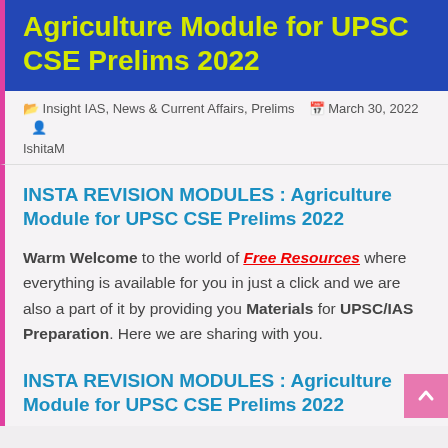Agriculture Module for UPSC CSE Prelims 2022
Insight IAS, News & Current Affairs, Prelims   March 30, 2022   IshitaM
INSTA REVISION MODULES : Agriculture Module for UPSC CSE Prelims 2022
Warm Welcome to the world of Free Resources where everything is available for you in just a click and we are also a part of it by providing you Materials for UPSC/IAS Preparation. Here we are sharing with you.
INSTA REVISION MODULES : Agriculture Module for UPSC CSE Prelims 2022